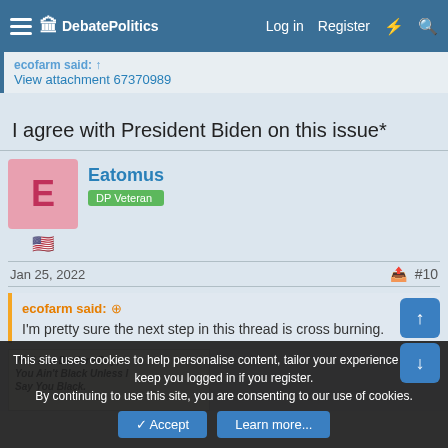DebatePolitics  Log in  Register
View attachment 67370989
I agree with President Biden on this issue*
Eatomus
DP Veteran
Jan 25, 2022   #10
ecofarm said:
I'm pretty sure the next step in this thread is cross burning.
[Figure (photo): Image with text: Well I do Declare Boy, You Ain't Black Unless I Say You Black.]
This site uses cookies to help personalise content, tailor your experience and to keep you logged in if you register.
By continuing to use this site, you are consenting to our use of cookies.
Accept  Learn more...